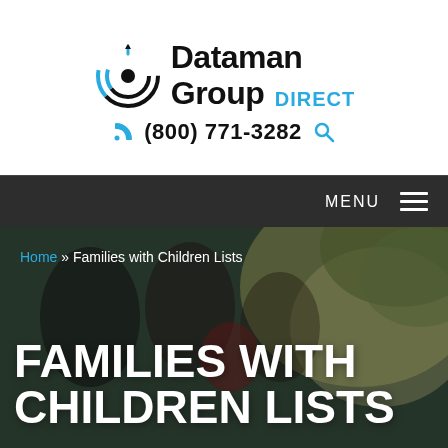[Figure (logo): Dataman Group Direct logo with circular target icon, company name in black and blue]
(800) 771-3282
MENU
Home » Families with Children Lists
FAMILIES WITH CHILDREN LISTS